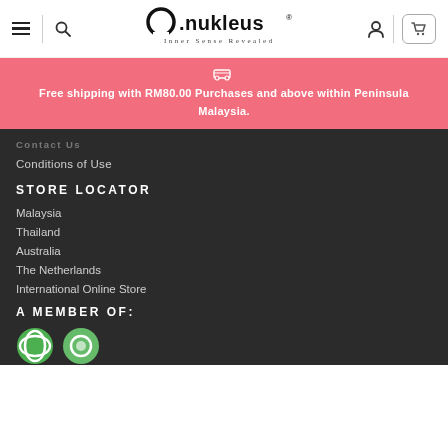[Figure (logo): Nukleus logo with text and tagline 'Inner Sense Revealed']
Free shipping with RM80.00 Purchases and above within Peninsula Malaysia.
Contact Us
Conditions of Use
STORE LOCATOR
Malaysia
Thailand
Australia
The Netherlands
International Online Store
A MEMBER OF:
[Figure (logo): Member organization logos (green circle logos)]